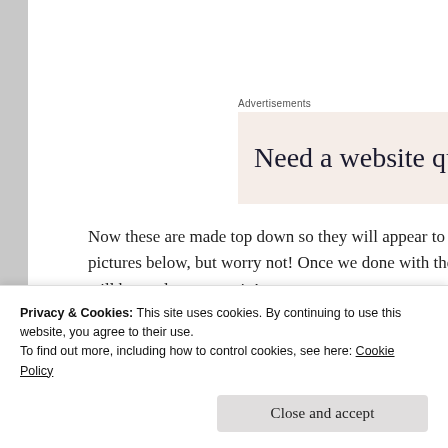[Figure (other): Advertisement banner with text 'Need a website quickly' on a light pink/beige background]
Now these are made top down so they will appear to be pictures below, but worry not! Once we done with the will be ready to move in!
Materials
Privacy & Cookies: This site uses cookies. By continuing to use this website, you agree to their use.
To find out more, including how to control cookies, see here: Cookie Policy
Close and accept